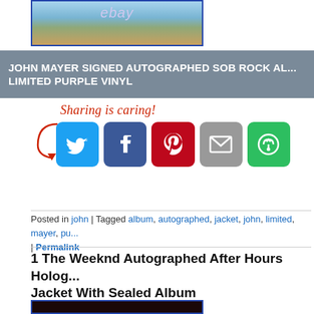[Figure (photo): eBay product photo showing a vinyl album, partially visible at top of page]
JOHN MAYER SIGNED AUTOGRAPHED SOB ROCK AL... LIMITED PURPLE VINYL
[Figure (infographic): Sharing is caring! social share buttons: Twitter, Facebook, Pinterest, Email, and a share icon]
Posted in john | Tagged album, autographed, jacket, john, limited, mayer, pu... | Permalink
1 The Weeknd Autographed After Hours Holog... Jacket With Sealed Album
[Figure (photo): Photo of The Weeknd After Hours holographic album jacket with sealed album]